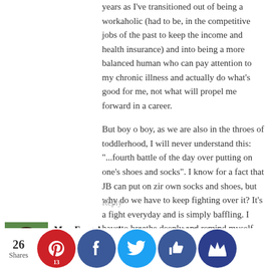years as I've transitioned out of being a workaholic (had to be, in the competitive jobs of the past to keep the income and health insurance) and into being a more balanced human who can pay attention to my chronic illness and actually do what's good for me, not what will propel me forward in a career.
But boy o boy, as we are also in the throes of toddlerhood, I will never understand this: "...fourth battle of the day over putting on one's shoes and socks". I know for a fact that JB can put on zir own socks and shoes, but why do we have to keep fighting over it? It's a fight everyday and is simply baffling. I have to breathe deeply and remind myself that those 4 minutes in the scheme of the day and life is not a big deal.
Reply
Mrs. Frugalwoods
November 3, 2017 at 1:12 pm
I SO feel like saying "Just put on the dang shoes already!!!" but I have to restrain myself and remember that everything is a learning/growing experience, but still, just put on your freaking shoes so we can leave the house, kids!!!!!
26
Shares